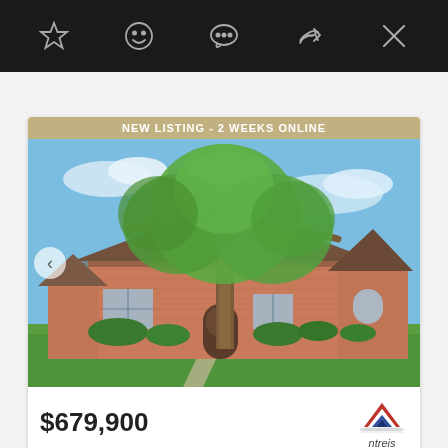Toolbar with star, smiley, chat, share, close icons
[Figure (photo): Exterior photo of a brick single-family home with large tree in front yard, green lawn, blue sky. Banner reads: NEW LISTING - 2 WEEKS ONLINE]
$679,900
[Figure (logo): NTREIS logo - red/blue striped triangle shape with text 'ntreis' below]
SINGLE FAMILY HOME FOR SALE